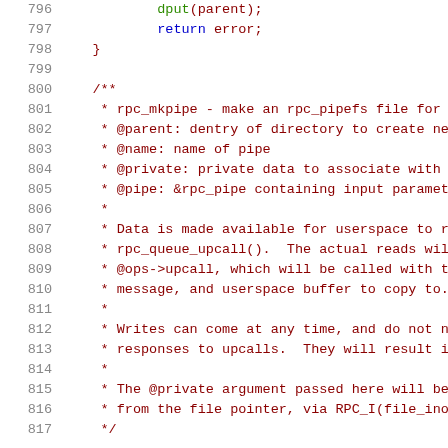[Figure (screenshot): Source code viewer showing lines 796-817 of a C source file. Line numbers appear in gray on the left. Code contains a closing brace block and a Javadoc-style comment block documenting the rpc_mkpipe function. Keywords like 'return' appear in blue, function names in green, and comment text in dark red.]